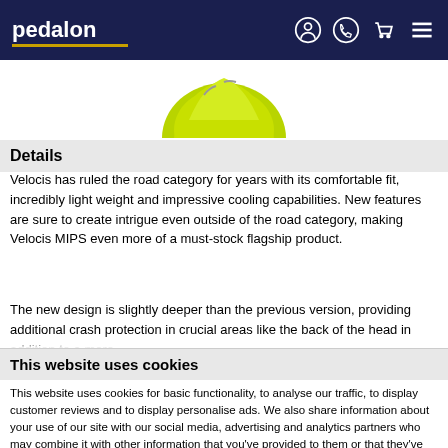pedalon
[Figure (photo): Partial view of a cycling helmet in yellow-green color at the top of the page]
Details
Velocis has ruled the road category for years with its comfortable fit, incredibly light weight and impressive cooling capabilities. New features are sure to create intrigue even outside of the road category, making Velocis MIPS even more of a must-stock flagship product.
The new design is slightly deeper than the previous version, providing additional crash protection in crucial areas like the back of the head in addition to a more
This website uses cookies
This website uses cookies for basic functionality, to analyse our traffic, to display customer reviews and to display personalise ads. We also share information about your use of our site with our social media, advertising and analytics partners who may combine it with other information that you've provided to them or that they've collected from your use of their services.
Allow selection | Allow all cookies
Necessary  Preferences  Statistics  Marketing  Show details